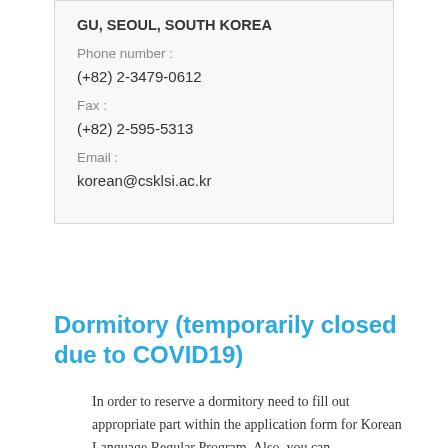GU, SEOUL, SOUTH KOREA
Phone number :
(+82) 2-3479-0612
Fax :
(+82) 2-595-5313
Email :
korean@csklsi.ac.kr
Dormitory (temporarily closed due to COVID19)
In order to reserve a dormitory need to fill out appropriate part within the application form for Korean Language Regular Program. Also, you can